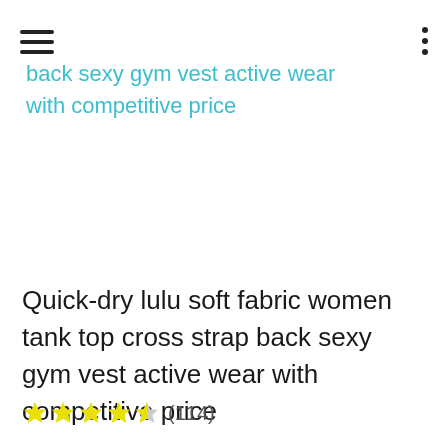[hamburger menu] [three dots menu]
back sexy gym vest active wear with competitive price
Quick-dry lulu soft fabric women tank top cross strap back sexy gym vest active wear with competitive price
★★★★½ (114)